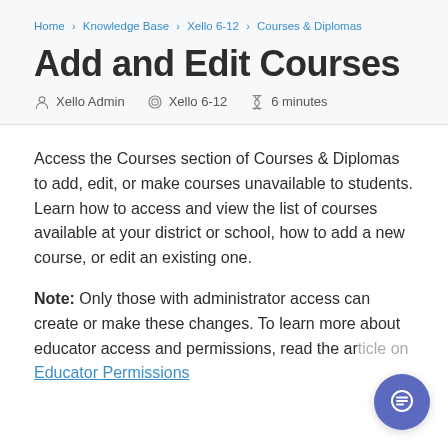Home > Knowledge Base > Xello 6-12 > Courses & Diplomas
Add and Edit Courses
Xello Admin   Xello 6-12   6 minutes
Access the Courses section of Courses & Diplomas to add, edit, or make courses unavailable to students. Learn how to access and view the list of courses available at your district or school, how to add a new course, or edit an existing one.
Note: Only those with administrator access can create or make these changes. To learn more about educator access and permissions, read the article on Educator Permissions.